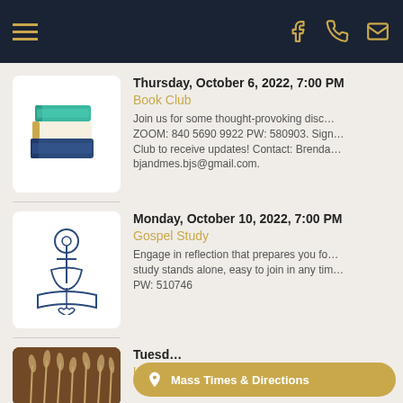Navigation bar with hamburger menu, Facebook, phone, and email icons
Thursday, October 6, 2022, 7:00 PM
Book Club
Join us for some thought-provoking disc... ZOOM: 840 5690 9922 PW: 580903. Sign... Club to receive updates! Contact: Brenda... bjandmes.bjs@gmail.com.
Monday, October 10, 2022, 7:00 PM
Gospel Study
Engage in reflection that prepares you fo... study stands alone, easy to join in any tim... PW: 510746
Tuesd...
Upcoming Events in Archdiocese o...
Mass Times & Directions